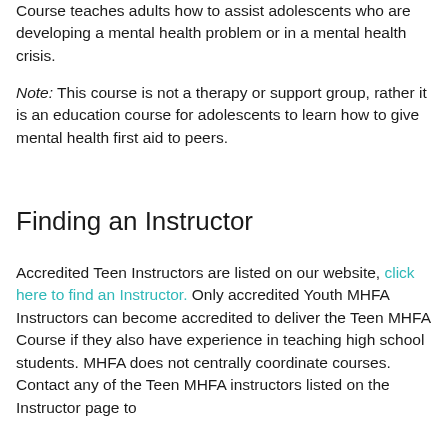Course teaches adults how to assist adolescents who are developing a mental health problem or in a mental health crisis.
Note: This course is not a therapy or support group, rather it is an education course for adolescents to learn how to give mental health first aid to peers.
Finding an Instructor
Accredited Teen Instructors are listed on our website, click here to find an Instructor. Only accredited Youth MHFA Instructors can become accredited to deliver the Teen MHFA Course if they also have experience in teaching high school students. MHFA does not centrally coordinate courses. Contact any of the Teen MHFA instructors listed on the Instructor page to